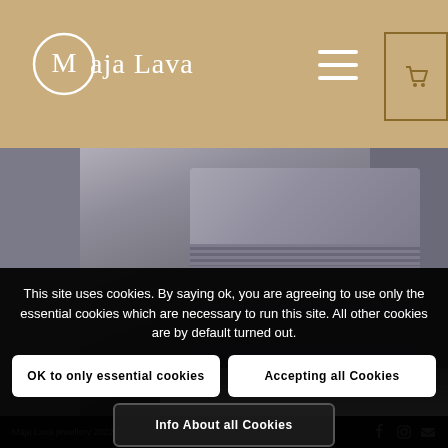Maja Lava
[Figure (photo): Close-up photo of a grey velvet jewellery box on a light background, showing the ribbed zipper edge and soft fabric texture]
This site uses cookies. By saying ok, you are agreeing to use only the essential cookies which are necessary to run this site. All other cookies are by default turned out.
OK to only essential cookies
Accepting all Cookies
Info About all Cookies
Maja Lava jewellery 2022 © Copyright